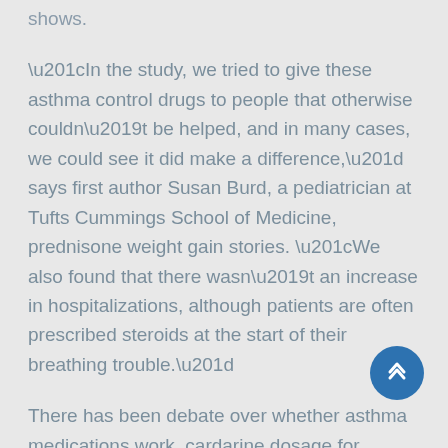shows.
“In the study, we tried to give these asthma control drugs to people that otherwise couldn’t be helped, and in many cases, we could see it did make a difference,” says first author Susan Burd, a pediatrician at Tufts Cummings School of Medicine, prednisone weight gain stories. “We also found that there wasn’t an increase in hospitalizations, although patients are often prescribed steroids at the start of their breathing trouble.”
There has been debate over whether asthma medications work, cardarine dosage for cardio. It isn’t clear whether they actually help to control asthma attacks; the medications can help some patients, but many others don’t see much benefit.
Steroid treatment typically is given when respiratory